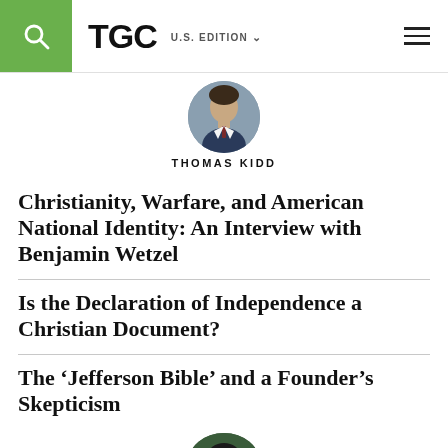TGC U.S. EDITION
[Figure (photo): Circular cropped headshot of Thomas Kidd, a man in a suit and tie]
THOMAS KIDD
Christianity, Warfare, and American National Identity: An Interview with Benjamin Wetzel
Is the Declaration of Independence a Christian Document?
The ‘Jefferson Bible’ and a Founder’s Skepticism
[Figure (photo): Circular cropped headshot of a woman with dark hair, partially visible at bottom of page]